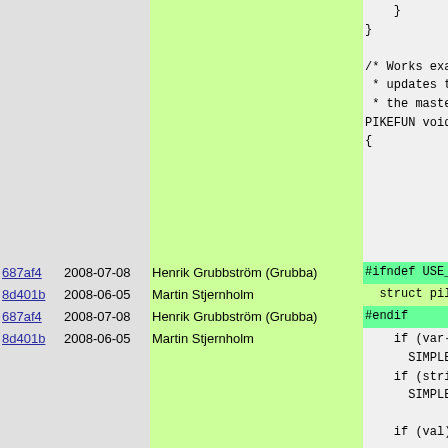| hash | date | author | code |
| --- | --- | --- | --- |
|  |  |  | }
}
/* Works exa
 * updates t
 * the mast
PIKEFUN voi
{ |
| 687af4 | 2008-07-08 | Henrik Grubbström (Grubba) | #ifndef USE_ |
| 8d401b | 2008-06-05 | Martin Stjernholm | struct pik |
| 687af4 | 2008-07-08 | Henrik Grubbström (Grubba) | #endif |
| 8d401b | 2008-06-05 | Martin Stjernholm | if (var->s
  SIMPLE_A
if (string
  SIMPLE_A

if (val) s |
| 687af4 | 2008-07-08 | Henrik Grubbström (Grubba) | #ifndef USE_ |
| 8d401b | 2008-06-05 | Martin Stjernholm | struct s |
| 687af4 | 2008-07-08 | Henrik Grubbström (Grubba) | #endif |
| 8d401b | 2008-06-05 | Martin Stjernholm | if (val s
  SIMPLE
if (str |